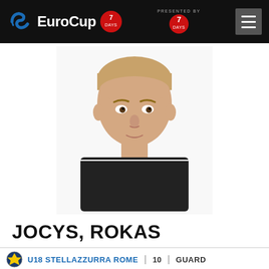EuroCup 7DAYS — presented by 7DAYS
[Figure (photo): Headshot photo of Rokas Jocys, a young male basketball player with short light brown hair, wearing a black and white jersey, against a white background.]
JOCYS, ROKAS
U18 STELLAZZURRA ROME | 10 | GUARD